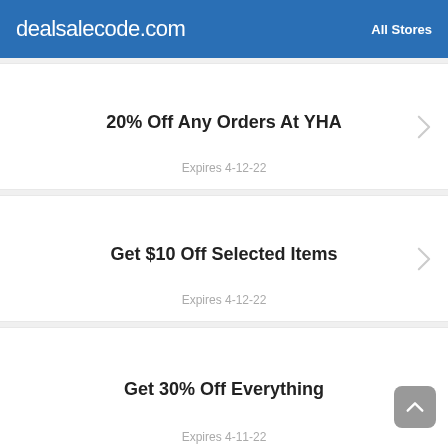dealsalecode.com  All Stores
20% Off Any Orders At YHA
Expires 4-12-22
Get $10 Off Selected Items
Expires 4-12-22
Get 30% Off Everything
Expires 4-11-22